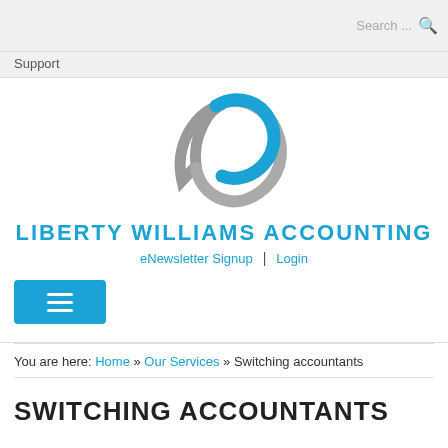Search ...
Support
[Figure (logo): Liberty Williams Accounting logo: a circular arc swoosh in blue and grey with the company name in bold blue uppercase text below]
eNewsletter Signup  |  Login
You are here: Home » Our Services » Switching accountants
SWITCHING ACCOUNTANTS